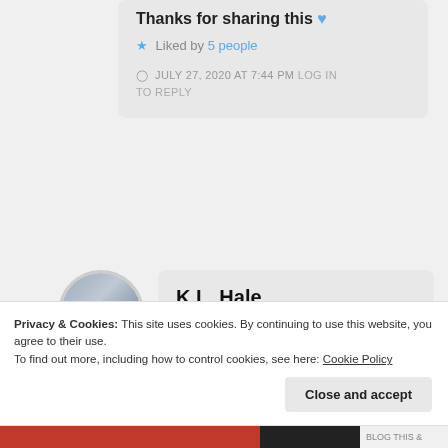logdoy:
Thanks for sharing this 💙
Liked by 5 people
JULY 27, 2020 AT 7:44 PM LOG IN TO REPLY
K.L. Hale
Privacy & Cookies: This site uses cookies. By continuing to use this website, you agree to their use.
To find out more, including how to control cookies, see here: Cookie Policy
Close and accept